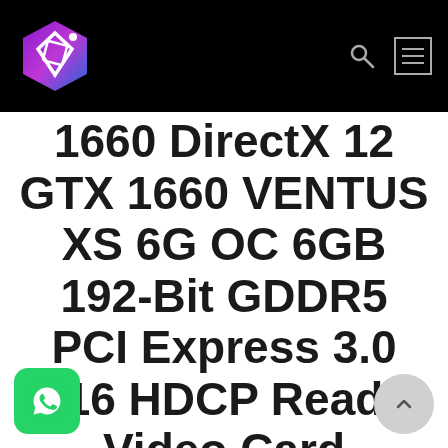[Figure (logo): Colorful hexagonal logo with geometric shapes in purple, pink, blue and white on black navigation bar]
1660 DirectX 12 GTX 1660 VENTUS XS 6G OC 6GB 192-Bit GDDR5 PCI Express 3.0 x16 HDCP Ready Video Card
[Figure (logo): WhatsApp floating button, green rounded square with WhatsApp phone icon]
[Figure (other): Scroll-to-top button, gray circle with upward chevron arrow]